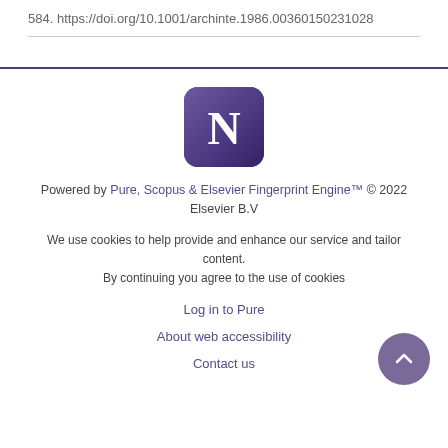584. https://doi.org/10.1001/archinte.1986.00360150231028
[Figure (logo): Northwestern University 'N' logo — white letter N on purple/dark violet rounded square background]
Powered by Pure, Scopus & Elsevier Fingerprint Engine™ © 2022 Elsevier B.V
We use cookies to help provide and enhance our service and tailor content. By continuing you agree to the use of cookies
Log in to Pure
About web accessibility
Contact us